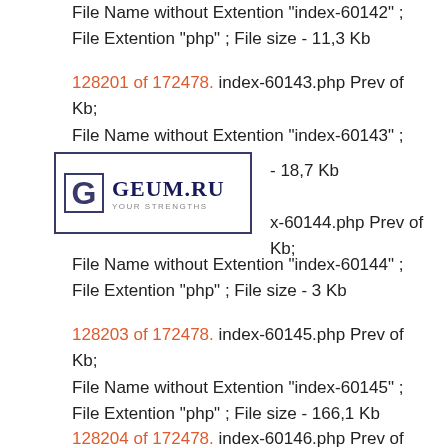File Name without Extention "index-60142" ; File Extention "php" ; File size - 11,3 Kb
128201 of 172478. index-60143.php Prev of Kb; File Name without Extention "index-60143" ; File - 18,7 Kb
[Figure (logo): GEUM.RU logo with G icon and tagline YOUR STRENGTHS]
x-60144.php Prev of Kb;
File Name without Extention "index-60144" ; File Extention "php" ; File size - 3 Kb
128203 of 172478. index-60145.php Prev of Kb; File Name without Extention "index-60145" ; File Extention "php" ; File size - 166,1 Kb
128204 of 172478. index-60146.php Prev of Kb; File Name without Extention "index-60146" ; File Extention "php" ; File size - 40,9 Kb
128205 of 172478. index-60147.php Prev of Kb; File Name without Extention "index-60147" ; File